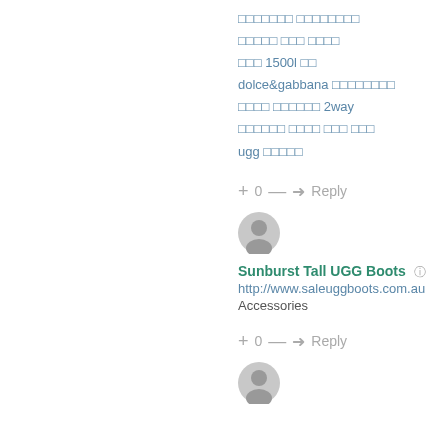xxxxxxx xxxxxxxx
xxxxx xxx xxxx
xxx 1500l xx
dolce&gabbana xxxxxxxx
xxxx xxxxxx 2way
xxxxxxx xxxx xxx xxx
ugg xxxxx
+ 0 — ➜ Reply
[Figure (illustration): User avatar circle icon]
Sunburst Tall UGG Boots ©
http://www.saleuggboots.com.au
Accessories
+ 0 — ➜ Reply
[Figure (illustration): User avatar circle icon second]